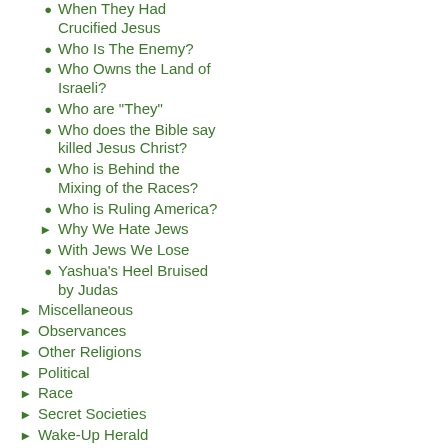When They Had Crucified Jesus
Who Is The Enemy?
Who Owns the Land of Israeli?
Who are "They"
Who does the Bible say killed Jesus Christ?
Who is Behind the Mixing of the Races?
Who is Ruling America?
Why We Hate Jews
With Jews We Lose
Yashua's Heel Bruised by Judas
Miscellaneous
Observances
Other Religions
Political
Race
Secret Societies
Wake-Up Herald